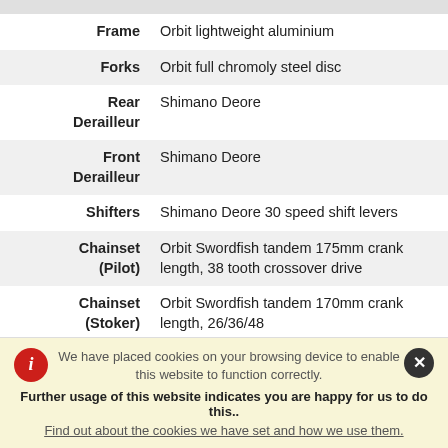| Component | Specification |
| --- | --- |
| Frame | Orbit lightweight aluminium |
| Forks | Orbit full chromoly steel disc |
| Rear Derailleur | Shimano Deore |
| Front Derailleur | Shimano Deore |
| Shifters | Shimano Deore 30 speed shift levers |
| Chainset (Pilot) | Orbit Swordfish tandem 175mm crank length, 38 tooth crossover drive |
| Chainset (Stoker) | Orbit Swordfish tandem 170mm crank length, 26/36/48 |
| Bottom | Alloy eccentric & Tange Tour cartridge bearing |
We have placed cookies on your browsing device to enable this website to function correctly. Further usage of this website indicates you are happy for us to do this.. Find out about the cookies we have set and how we use them.